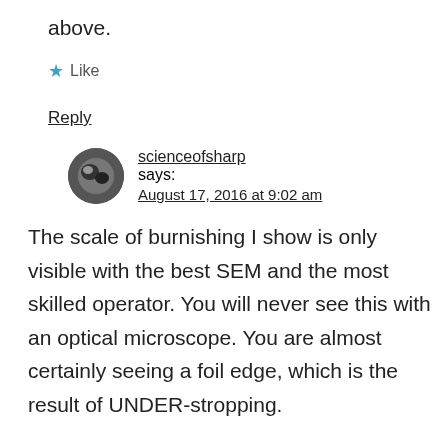above.
★ Like
Reply
scienceofsharp says: August 17, 2016 at 9:02 am
The scale of burnishing I show is only visible with the best SEM and the most skilled operator. You will never see this with an optical microscope. You are almost certainly seeing a foil edge, which is the result of UNDER-stropping.